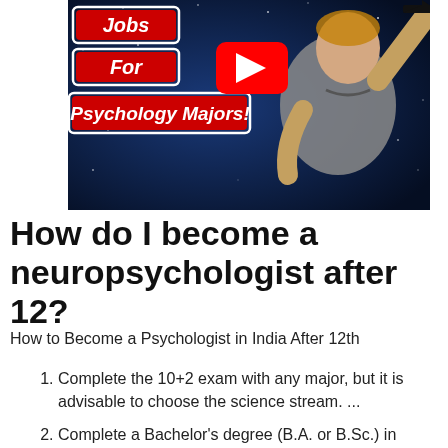[Figure (screenshot): YouTube video thumbnail showing a man in a gray polo shirt throwing a graduation cap, with text 'Jobs For Psychology Majors!' in red on a dark blue starry background, with a YouTube play button icon]
How do I become a neuropsychologist after 12?
How to Become a Psychologist in India After 12th
Complete the 10+2 exam with any major, but it is advisable to choose the science stream. ...
Complete a Bachelor's degree (B.A. or B.Sc.) in Psychology...